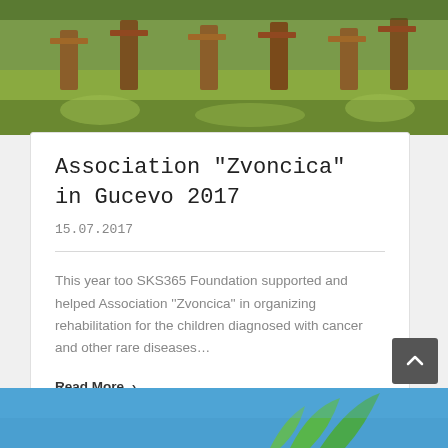[Figure (photo): Outdoor scene with wooden benches or structures on grass in sunlight]
Association "Zvoncica" in Gucevo 2017
15.07.2017
This year too SKS365 Foundation supported and helped Association ''Zvoncica'' in organizing rehabilitation for the children diagnosed with cancer and other rare diseases…
Read More ›
[Figure (photo): Bottom partial photo with blue sky and green plant/nature elements]